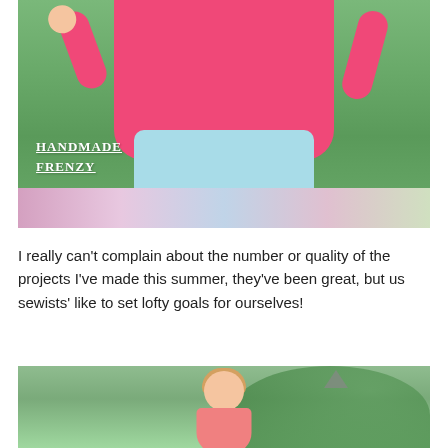[Figure (photo): A young child wearing a pink/magenta t-shirt and light blue shorts, standing outdoors on a colorful blanket with green grass in the background. A watermark reads 'Handmade Frenzy' in the lower left of the image.]
I really can't complain about the number or quality of the projects I've made this summer, they've been great, but us sewists' like to set lofty goals for ourselves!
[Figure (photo): Partial photo of a child outdoors, with green trees visible in the background. An upward-pointing arrow graphic is visible in the upper right area.]